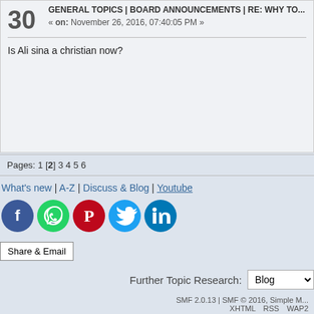30 GENERAL TOPICS | BOARD ANNOUNCEMENTS | Re: Why to... « on: November 26, 2016, 07:40:05 PM »
Is Ali sina a christian now?
Pages: 1 [2] 3 4 5 6
What's new | A-Z | Discuss & Blog | Youtube
[Figure (other): Social media share icons: Facebook, WhatsApp, Pinterest, Twitter, LinkedIn]
Share & Email
Further Topic Research: Blog
SMF 2.0.13 | SMF © 2016, Simple M... XHTML RSS WAP2